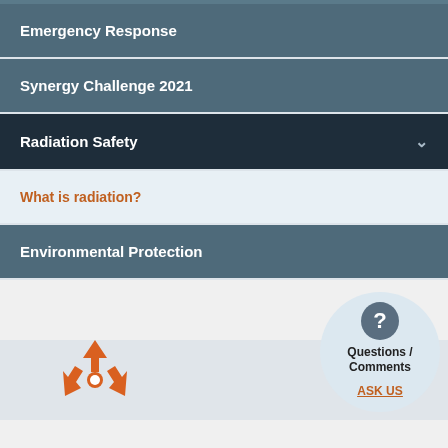Emergency Response
Synergy Challenge 2021
Radiation Safety
What is radiation?
Environmental Protection
Questions / Comments ASK US